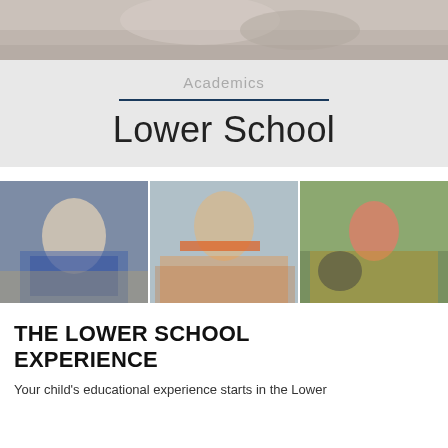[Figure (photo): Top banner photo of children in a classroom setting, cropped to show torso/hands area]
Academics
Lower School
[Figure (photo): Three side-by-side photos: a smiling girl in a classroom, a boy drawing with orange marker, and a child playing on a tire swing outdoors]
THE LOWER SCHOOL EXPERIENCE
Your child's educational experience starts in the Lower